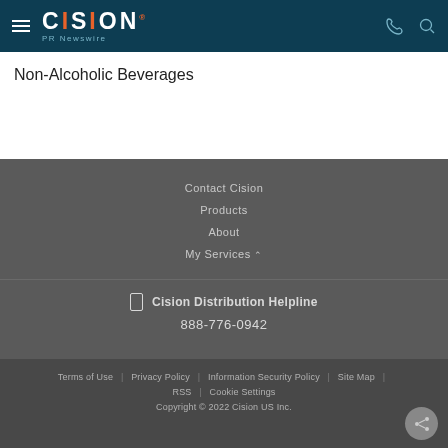CISION PR Newswire
Non-Alcoholic Beverages
Contact Cision
Products
About
My Services
Cision Distribution Helpline
888-776-0942
Terms of Use | Privacy Policy | Information Security Policy | Site Map | RSS | Cookie Settings
Copyright © 2022 Cision US Inc.